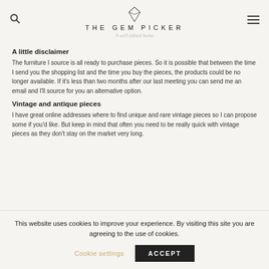THE GEM PICKER — A well edited home
A little disclaimer
The furniture I source is all ready to purchase pieces. So it is possible that between the time I send you the shopping list and the time you buy the pieces, the products could be no longer available. If it's less than two months after our last meeting you can send me an email and I'll source for you an alternative option.
Vintage and antique pieces
I have great online addresses where to find unique and rare vintage pieces so I can propose some if you'd like. But keep in mind that often you need to be really quick with vintage pieces as they don't stay on the market very long.
This website uses cookies to improve your experience. By visiting this site you are agreeing to the use of cookies.